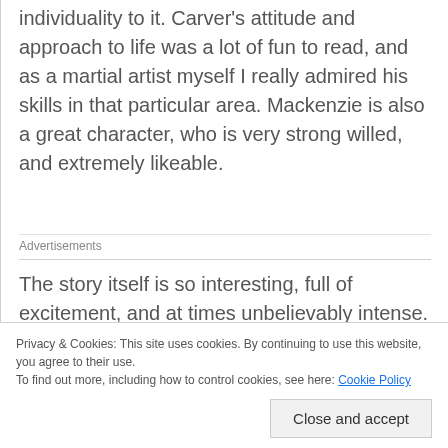individuality to it. Carver's attitude and approach to life was a lot of fun to read, and as a martial artist myself I really admired his skills in that particular area. Mackenzie is also a great character, who is very strong willed, and extremely likeable.
Advertisements
The story itself is so interesting, full of excitement, and at times unbelievably intense. It is action packed from beginning to end, and I loved the mix of dark magic and war. The way the two came
Privacy & Cookies: This site uses cookies. By continuing to use this website, you agree to their use.
To find out more, including how to control cookies, see here: Cookie Policy
Close and accept
benefitted the book in a huge way. The descriptions